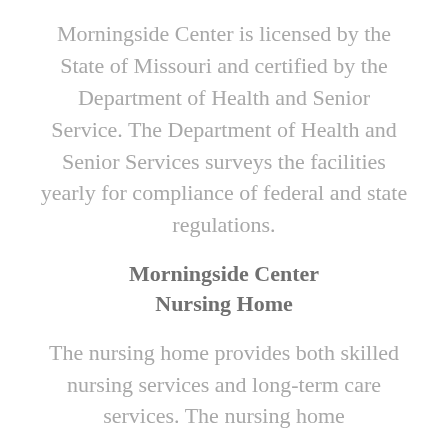Morningside Center is licensed by the State of Missouri and certified by the Department of Health and Senior Service. The Department of Health and Senior Services surveys the facilities yearly for compliance of federal and state regulations.
Morningside Center Nursing Home
The nursing home provides both skilled nursing services and long-term care services. The nursing home